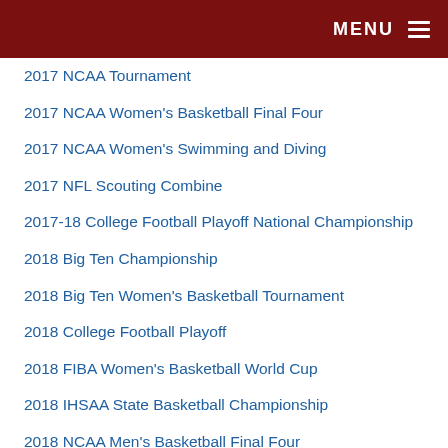MENU
2017 NCAA Tournament
2017 NCAA Women's Basketball Final Four
2017 NCAA Women's Swimming and Diving
2017 NFL Scouting Combine
2017-18 College Football Playoff National Championship
2018 Big Ten Championship
2018 Big Ten Women's Basketball Tournament
2018 College Football Playoff
2018 FIBA Women's Basketball World Cup
2018 IHSAA State Basketball Championship
2018 NCAA Men's Basketball Final Four
2018 NFL Scouting Combine